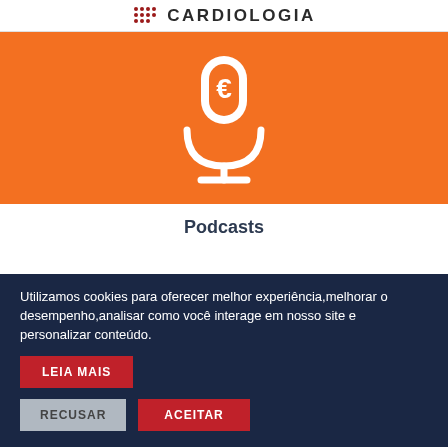CARDIOLOGIA
[Figure (illustration): Orange banner with a white microphone/podcast icon in the center]
Podcasts
Utilizamos cookies para oferecer melhor experiência,melhorar o desempenho,analisar como você interage em nosso site e personalizar conteúdo.
LEIA MAIS
RECUSAR   ACEITAR